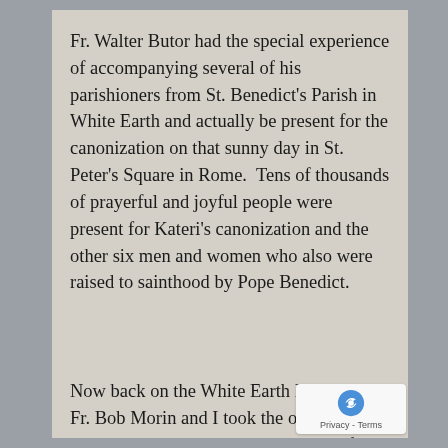Fr. Walter Butor had the special experience of accompanying several of his parishioners from St. Benedict's Parish in White Earth and actually be present for the canonization on that sunny day in St. Peter's Square in Rome.  Tens of thousands of prayerful and joyful people were present for Kateri's canonization and the other six men and women who also were raised to sainthood by Pope Benedict.
Now back on the White Earth Reservation, Fr. Bob Morin and I took the opportunity to celebrate her canonization.  Each of the six parishes had some type of celebration.  On Sunday, Oct. 21, Bob celebrated an inculturated Mass in which several element Native American culture were incorporated